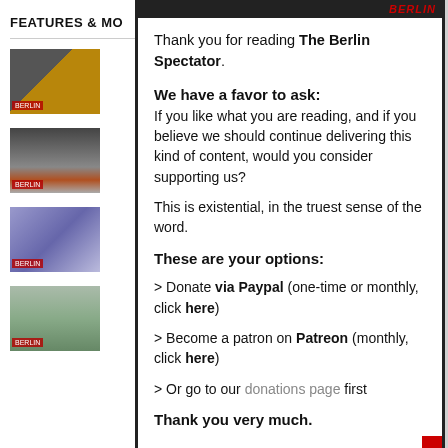FEATURES & MO
[Figure (photo): Thumbnail image 1 - paper/document photo]
[Figure (photo): Thumbnail image 2 - Berlin TV tower with traffic light]
[Figure (photo): Thumbnail image 3 - historical portrait composite]
[Figure (photo): Thumbnail image 4 - street scene]
Thank you for reading The Berlin Spectator.
We have a favor to ask: If you like what you are reading, and if you believe we should continue delivering this kind of content, would you consider supporting us?
This is existential, in the truest sense of the word.
These are your options:
> Donate via Paypal (one-time or monthly, click here)
> Become a patron on Patreon (monthly, click here)
> Or go to our donations page first
Thank you very much.